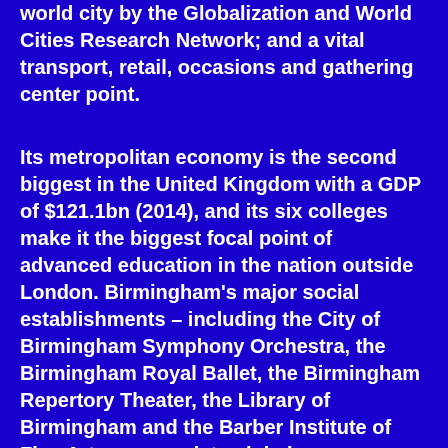world city by the Globalization and World Cities Research Network; and a vital transport, retail, occasions and gathering center point.
Its metropolitan economy is the second biggest in the United Kingdom with a GDP of $121.1bn (2014), and its six colleges make it the biggest focal point of advanced education in the nation outside London. Birmingham's major social establishments – including the City of Birmingham Symphony Orchestra, the Birmingham Royal Ballet, the Birmingham Repertory Theater, the Library of Birmingham and the Barber Institute of Fine Arts – appreciate global reputations,and the city has lively and compelling grassroots workmanship,